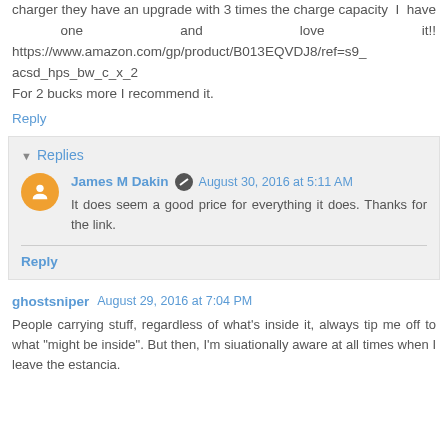charger they have an upgrade with 3 times the charge capacity I have one and love it!! https://www.amazon.com/gp/product/B013EQVDJ8/ref=s9_acsd_hps_bw_c_x_2
For 2 bucks more I recommend it.
Reply
Replies
James M Dakin  August 30, 2016 at 5:11 AM
It does seem a good price for everything it does. Thanks for the link.
Reply
ghostsniper  August 29, 2016 at 7:04 PM
People carrying stuff, regardless of what's inside it, always tip me off to what "might be inside". But then, I'm siuationally aware at all times when I leave the estancia.